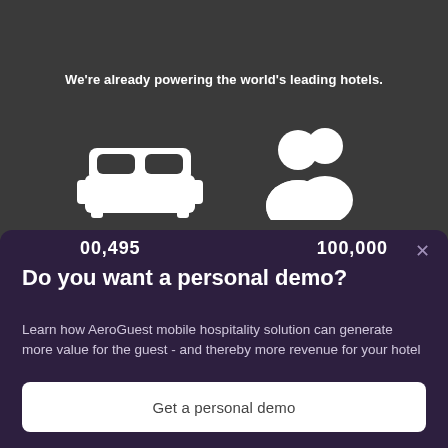We're already powering the world's leading hotels.
[Figure (illustration): White icon of a hotel bed (double bed with headboard and pillows) on dark background]
[Figure (illustration): White icon of two people/guests (person silhouettes) on dark background]
00,495
100,000
Do you want a personal demo?
Learn how AeroGuest mobile hospitality solution can generate more value for the guest - and thereby more revenue for your hotel
Get a personal demo